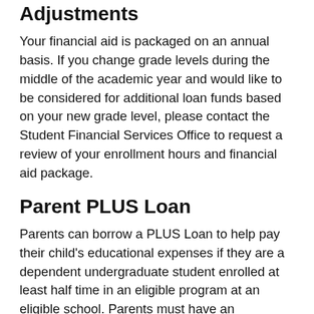Adjustments
Your financial aid is packaged on an annual basis. If you change grade levels during the middle of the academic year and would like to be considered for additional loan funds based on your new grade level, please contact the Student Financial Services Office to request a review of your enrollment hours and financial aid package.
Parent PLUS Loan
Parents can borrow a PLUS Loan to help pay their child's educational expenses if they are a dependent undergraduate student enrolled at least half time in an eligible program at an eligible school. Parents must have an acceptable credit history. The first payment is due within 60 days after the loan is fully disbursed. There is no grace period for these loans. Interest begins to accumulate at the time the first